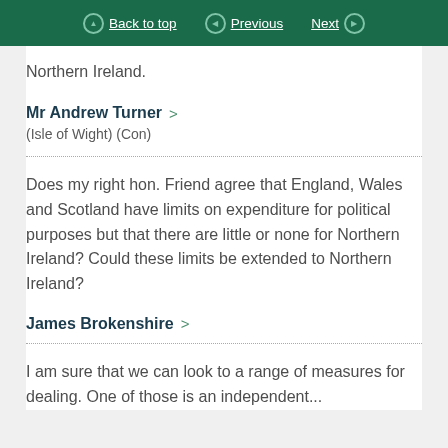Back to top | Previous | Next
Northern Ireland.
Mr Andrew Turner
(Isle of Wight) (Con)
Does my right hon. Friend agree that England, Wales and Scotland have limits on expenditure for political purposes but that there are little or none for Northern Ireland? Could these limits be extended to Northern Ireland?
James Brokenshire
I am sure that we can look to a range of measures for dealing. One of those is an independent...